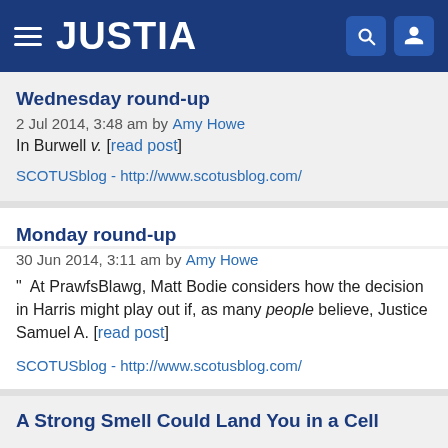JUSTIA
Wednesday round-up
2 Jul 2014, 3:48 am by Amy Howe
In Burwell v. [read post]
SCOTUSblog - http://www.scotusblog.com/
Monday round-up
30 Jun 2014, 3:11 am by Amy Howe
" At PrawfsBlawg, Matt Bodie considers how the decision in Harris might play out if, as many people believe, Justice Samuel A. [read post]
SCOTUSblog - http://www.scotusblog.com/
A Strong Smell Could Land You in a Cell